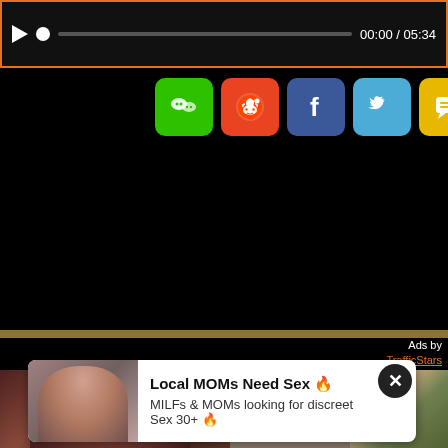[Figure (screenshot): Video player bar with play button, progress bar at 00:00, total duration 05:34, orange border]
[Figure (screenshot): Social share buttons row: WeChat (green), Reddit (red/orange), Facebook (blue), Twitter (light blue), SMS (yellow), Share (green)]
[Figure (screenshot): Black video content area below share buttons]
Ads by TrafficStars
[Figure (photo): Three thumbnail images of adult content]
Local MOMs Need Sex 🔥
MILFs & MOMs looking for discreet Sex 30+ 🔥